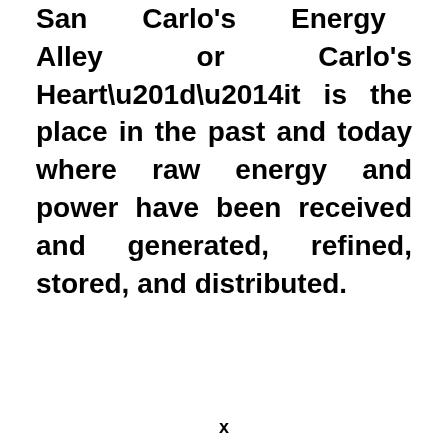San Carlos's Energy Alley or Carlo's Heart”—it is the place in the past and today where raw energy and power have been received and generated, refined, stored, and distributed.
x